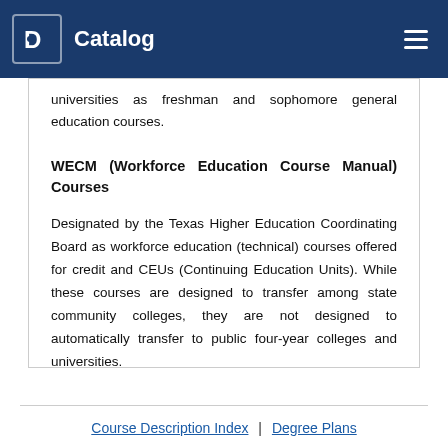Catalog
universities as freshman and sophomore general education courses.
WECM (Workforce Education Course Manual) Courses
Designated by the Texas Higher Education Coordinating Board as workforce education (technical) courses offered for credit and CEUs (Continuing Education Units). While these courses are designed to transfer among state community colleges, they are not designed to automatically transfer to public four-year colleges and universities.
Course Description Index | Degree Plans